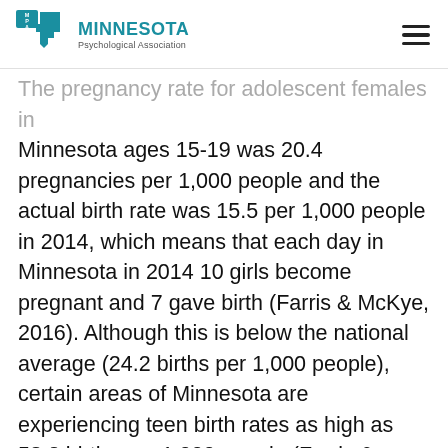Minnesota Psychological Association
The pregnancy rate for adolescent females in Minnesota ages 15-19 was 20.4 pregnancies per 1,000 people and the actual birth rate was 15.5 per 1,000 people in 2014, which means that each day in Minnesota in 2014 10 girls become pregnant and 7 gave birth (Farris & McKye, 2016). Although this is below the national average (24.2 births per 1,000 people), certain areas of Minnesota are experiencing teen birth rates as high as 58.2 births per 1,000 people (Farris & McKye, 2016, Office of Adolescent Health, 2016). STI’s in Minnesota among adolescents increased by 15% in 2016 (Farris & Burt, 2017). Further, the rates of